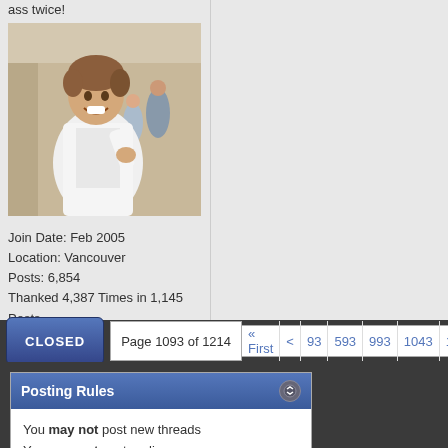ass twice!
[Figure (photo): Young smiling man in white jacket in a hallway with other people in the background]
Join Date: Feb 2005
Location: Vancouver
Posts: 6,854
Thanked 4,387 Times in 1,145 Posts
Page 1093 of 1214  « First  <  93  593  993  1043  1083  1084
Posting Rules
You may not post new threads
You may not post replies
You may not post attachments
You may not edit your posts
BB code is On
Smilies are On
[IMG] code is On
HTML code is Off
Trackbacks are On